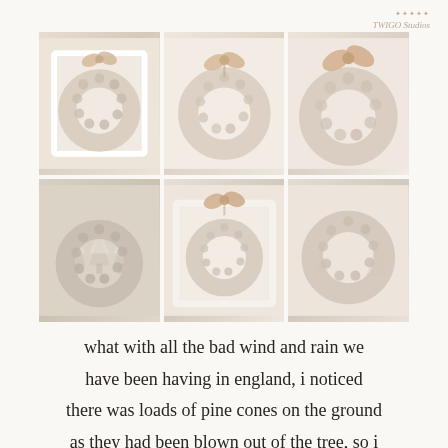TWIGO Studios
[Figure (photo): A 2x3 grid of six photographs showing snow-dusted pine cone wreaths in warm beige and cream tones. Top row: wreath in a white frame, round wreath with burlap bow, round wreath with burlap bow. Bottom row: round wreath with snowy pine trees behind, wreath in white frame with burlap bow, round wreath close-up.]
what with all the bad wind and rain we have been having in england, i noticed there was loads of pine cones on the ground as they had been blown out of the tree, so i